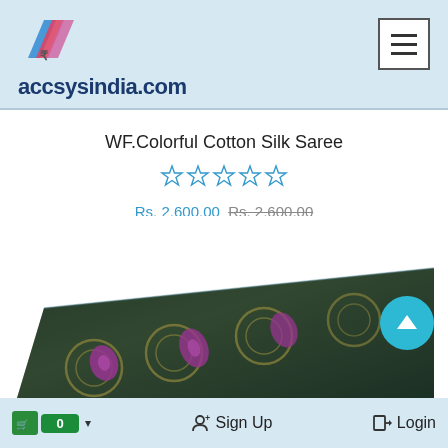accsysindia.com
WF.Colorful Cotton Silk Saree
☆ ☆ ☆ ☆ ☆
Rs. 2,600.00 Rs. 2,600.00
[Figure (photo): Colorful Cotton Silk Saree fabric folded, showing ornate dark blue/green pattern with magenta/pink floral designs]
0  Sign Up  Login